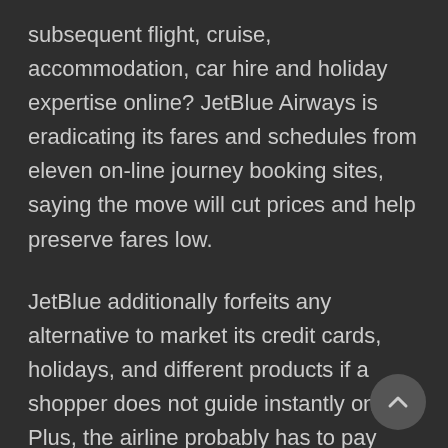subsequent flight, cruise, accommodation, car hire and holiday expertise online? JetBlue Airways is eradicating its fares and schedules from eleven on-line journey booking sites, saying the move will cut prices and help preserve fares low.
JetBlue additionally forfeits any alternative to market its credit cards, holidays, and different products if a shopper does not guide instantly on Plus, the airline probably has to pay Expedia for a referral (though exactly what OTAs cost airlines and hotels for sending them business is a carefully guarded secret). The rise of on-line booking websites dealt a close to-deadly blow to travel agencies, but professionals have been slowly regaining some momentum, particularly in the luxurious sector.